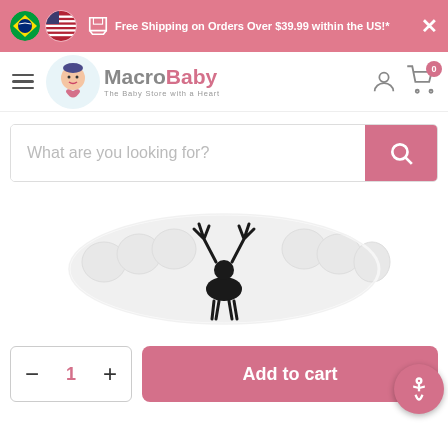Free Shipping on Orders Over $39.99 within the US!*
[Figure (logo): MacroBaby logo - The Baby Store with a Heart]
What are you looking for?
[Figure (photo): Baby product with black deer/reindeer antler graphic on white fabric, packaged in clear plastic]
Add to cart